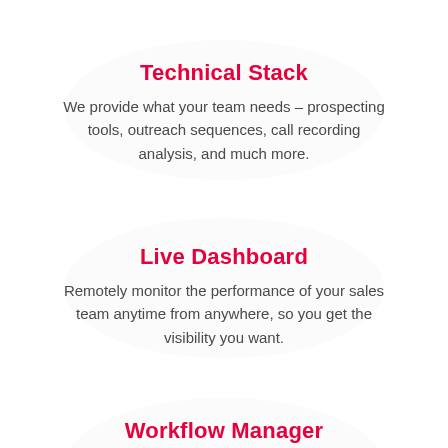Technical Stack
We provide what your team needs – prospecting tools, outreach sequences, call recording analysis, and much more.
Live Dashboard
Remotely monitor the performance of your sales team anytime from anywhere, so you get the visibility you want.
Workflow Manager